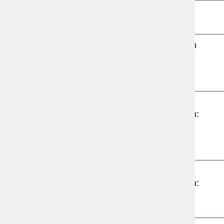| Date | Topic | Reading | Resources |
| --- | --- | --- | --- |
| Apr 1 | History Strategies | Ch. 9 | Snake Taxono... |
| Apr 3 | Communication and Mating Systems of Salamanders | Ch. 13, 14 |  |
| Apr 8 | Frog Vocal Communication: Behavioral Aspects | Ch. 13 | Snake Taxono... Evolutio... Snake Dentitic... |
| Apr 10 | Frog Vocal Communication: Call Production and Reception | Ch. 13 |  |
| Apr 15 | Mating Systems and Sexual Selection in Anurans | Ch. 14 | Reptile Review... Video: Snakes... |